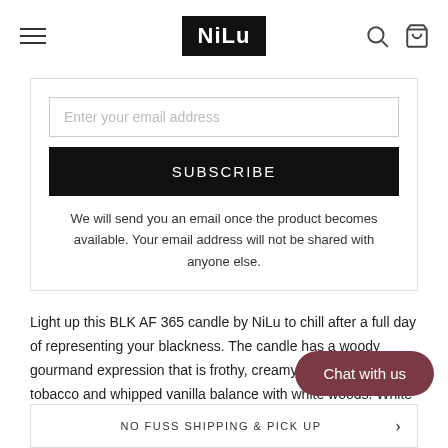NiLu
Enter your email address
SUBSCRIBE
We will send you an email once the product becomes available. Your email address will not be shared with anyone else.
Light up this BLK AF 365 candle by NiLu to chill after a full day of representing your blackness. The candle has a woody gourmand expression that is frothy, creamy and elevated with tobacco and whipped vanilla balance with white woods. White musk and touches of coffee notes fuel an addictive, edgy wax blend and lead-free wick.
Chat with us
NO FUSS SHIPPING & PICK UP